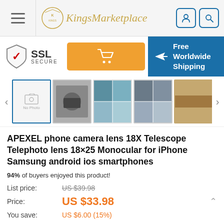[Figure (screenshot): Kings Marketplace website header with hamburger menu, logo, and user/search icons]
[Figure (infographic): SSL Secure badge, orange shopping cart button, and Free Worldwide Shipping banner]
[Figure (photo): Product image carousel showing APEXEL phone camera lens product images including no-photo placeholder and 4 product photos]
APEXEL phone camera lens 18X Telescope Telephoto lens 18×25 Monocular for iPhone Samsung android ios smartphones
94% of buyers enjoyed this product!
List price: US $39.98
Price: US $33.98
You save: US $6.00 (15%)